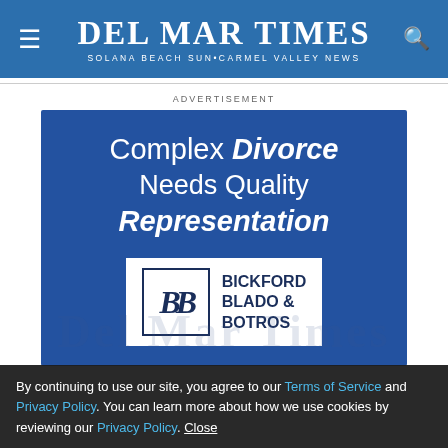Del Mar Times — Solana Beach Sun-Carmel Valley News
ADVERTISEMENT
[Figure (illustration): Advertisement for Bickford Blado & Botros law firm on a blue background. Text reads: Complex Divorce Needs Quality Representation. Features the BBB logo (three italic B letters in a bordered square) alongside the firm name Bickford Blado & Botros in white box.]
By continuing to use our site, you agree to our Terms of Service and Privacy Policy. You can learn more about how we use cookies by reviewing our Privacy Policy. Close